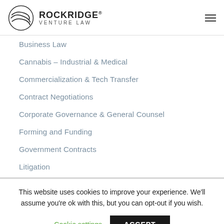ROCKRIDGE® VENTURE LAW
Business Law
Cannabis – Industrial & Medical
Commercialization & Tech Transfer
Contract Negotiations
Corporate Governance & General Counsel
Forming and Funding
Government Contracts
Litigation
This website uses cookies to improve your experience. We'll assume you're ok with this, but you can opt-out if you wish.
Cookie settings | ACCEPT